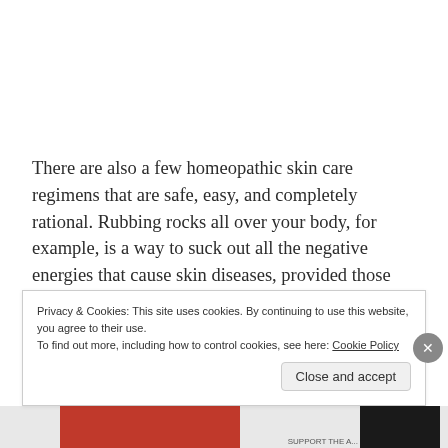There are also a few homeopathic skin care regimens that are safe, easy, and completely rational. Rubbing rocks all over your body, for example, is a way to suck out all the negative energies that cause skin diseases, provided those rocks are from the bottom of a stream and have been sensually kissed by a virgin.
Privacy & Cookies: This site uses cookies. By continuing to use this website, you agree to their use.
To find out more, including how to control cookies, see here: Cookie Policy